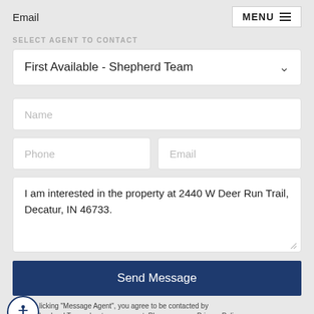Email
MENU
SELECT AGENT TO CONTACT
First Available - Shepherd Team
Name
Phone
Email
I am interested in the property at 2440 W Deer Run Trail, Decatur, IN 46733.
Send Message
licking "Message Agent", you agree to be contacted by hepherd Team about your request. Please see our Privacy Policy.